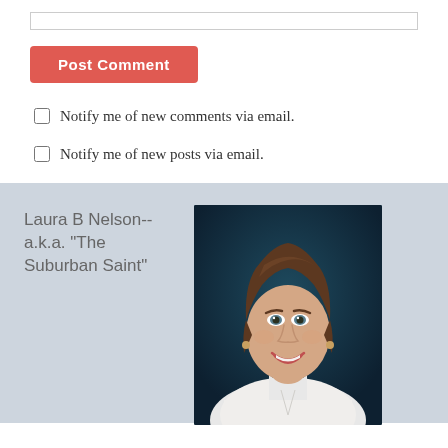[input bar at top]
Post Comment
Notify me of new comments via email.
Notify me of new posts via email.
Laura B Nelson-- a.k.a. "The Suburban Saint"
[Figure (photo): Professional headshot of Laura B Nelson, a woman with brown hair, smiling, wearing a white blouse, against a dark teal background.]